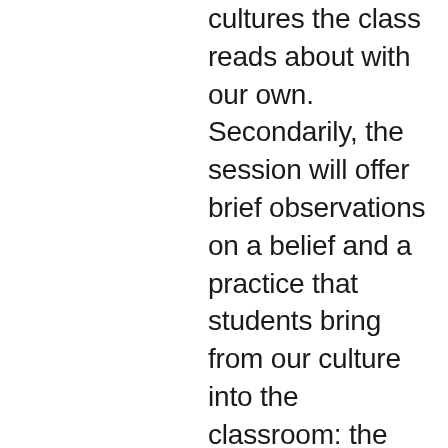cultures the class reads about with our own. Secondarily, the session will offer brief observations on a belief and a practice that students bring from our culture into the classroom: the belief that individual